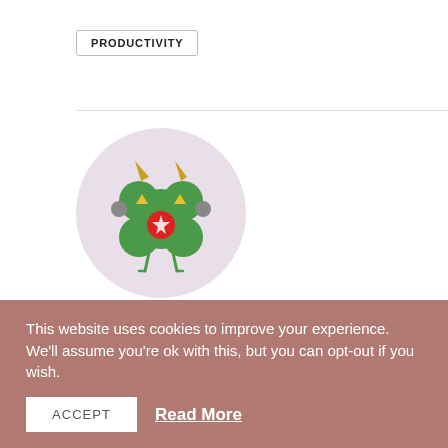PRODUCTIVITY
[Figure (illustration): Round lavender circle with a green cartoon monster character with horns, triangle eyes, wide open red mouth, and small legs/arms]
Shout Out UK
ALL AUTHOR POSTS
This website uses cookies to improve your experience. We'll assume you're ok with this, but you can opt-out if you wish.
ACCEPT  Read More